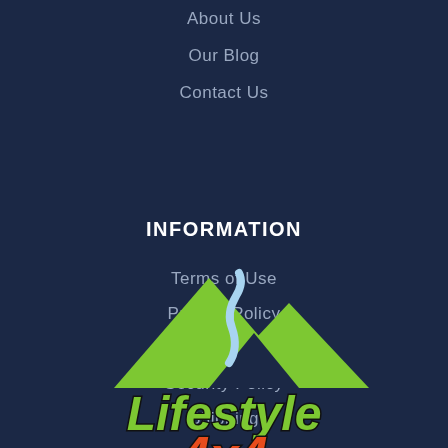About Us
Our Blog
Contact Us
INFORMATION
Terms of Use
Privacy Policy
Returns Policy
Security Policy
Shipping
[Figure (logo): Lifestyle 4x4 logo with green mountain peaks and a winding road, text 'Lifestyle' in green and partial '4x4' in orange/red at bottom]